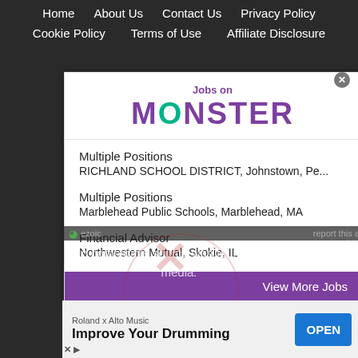Home   About Us   Contact Us   Privacy Policy   Cookie Policy   Terms of Use   Affiliate Disclosure
[Figure (screenshot): Jobs on Monster advertisement card showing three job listings: Multiple Positions at RICHLAND SCHOOL DISTRICT Johnstown Pe..., Multiple Positions at Marblehead Public Schools Marblehead MA, Financial Advisor at Northwestern Mutual Skokie IL, with a View More Jobs button at the bottom in purple]
No compatible source was found for this media.
[Figure (infographic): Bottom advertisement banner: Roland x Alto Music - Improve Your Drumming - OPEN button]